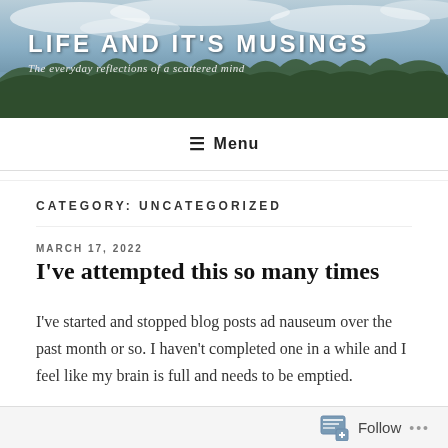[Figure (photo): Blog header banner showing a lake or pond with treeline reflected in water under a cloudy sky, with overlaid site title and tagline text]
LIFE AND IT'S MUSINGS
The everyday reflections of a scattered mind
≡ Menu
CATEGORY: UNCATEGORIZED
MARCH 17, 2022
I've attempted this so many times
I've started and stopped blog posts ad nauseum over the past month or so. I haven't completed one in a while and I feel like my brain is full and needs to be emptied.
Follow ...